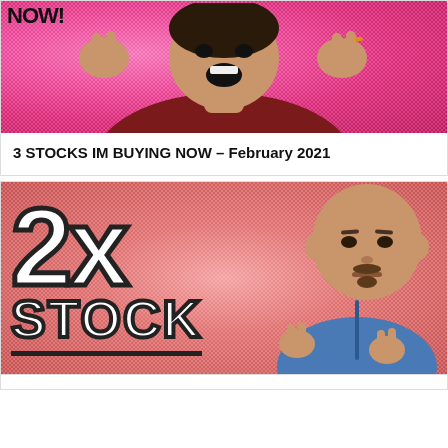[Figure (photo): Thumbnail image of a man with excited expression on a bright pink/magenta background, with 'NOW!' text in bold black letters at top left, hands raised with fingers pointing]
3 STOCKS IM BUYING NOW – February 2021
[Figure (photo): Thumbnail image showing large bold '2x' text with black outline on a pink/red glittery background, 'STOCK' text below with underline, and a serious-looking bald man on the right side holding up fingers]